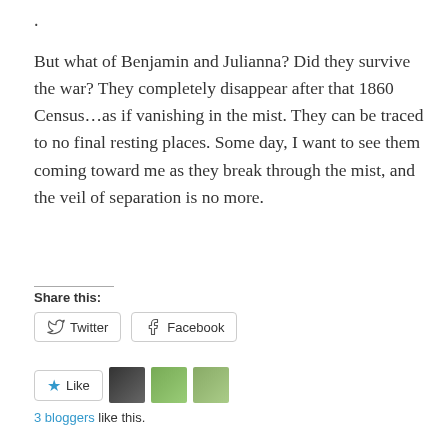.
But what of Benjamin and Julianna? Did they survive the war? They completely disappear after that 1860 Census…as if vanishing in the mist. They can be traced to no final resting places. Some day, I want to see them coming toward me as they break through the mist, and the veil of separation is no more.
Share this:
Twitter   Facebook
Like   3 bloggers like this.